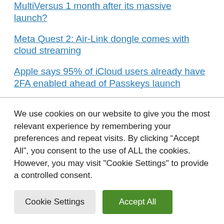MultiVersus 1 month after its massive launch?
Meta Quest 2: Air-Link dongle comes with cloud streaming
Apple says 95% of iCloud users already have 2FA enabled ahead of Passkeys launch
Top Stories: Apple Event Announced, iPadOS 16 Officially Delayed, and More
Intel Z790 Motherboards With Up To DDR5-
We use cookies on our website to give you the most relevant experience by remembering your preferences and repeat visits. By clicking “Accept All”, you consent to the use of ALL the cookies. However, you may visit "Cookie Settings" to provide a controlled consent.
Cookie Settings | Accept All